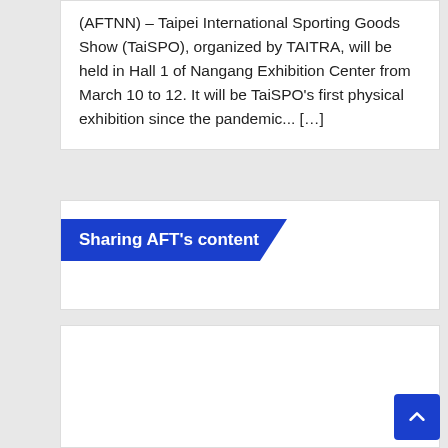(AFTNN) – Taipei International Sporting Goods Show (TaiSPO), organized by TAITRA, will be held in Hall 1 of Nangang Exhibition Center from March 10 to 12. It will be TaiSPO's first physical exhibition since the pandemic... […]
Sharing AFT's content
[Figure (other): Empty white content card area at bottom of page]